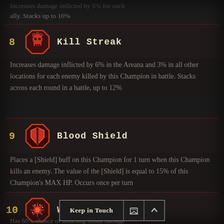Increases damage inflicted by 5% for each ally. Stacks up to 10%
8  Kill Streak
Increases damage inflicted by 6% in the Areana and 3% in all other locations for each enemy killed by this Champion in battle. Stacks across each round in a battle, up to 12%
9  Blood Shield
Places a [Shield] buff on this Champion for 1 turn when this Champion kills an enemy. The value of the [Shield] is equal to 15% of this Champion's MAX HP. Occurs once per turn
10  War...
Has 60% chance of inflicting bonus damage
Keep in Touch